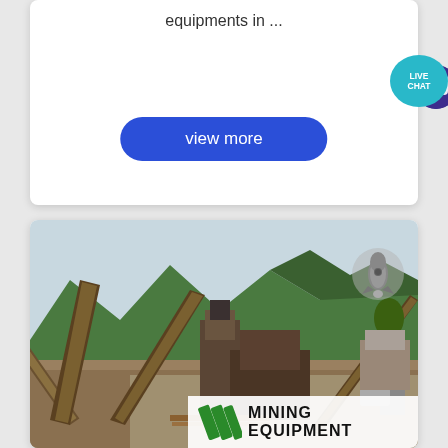equipments in ...
view more
[Figure (photo): Industrial mining equipment facility with conveyor belts and heavy machinery against a mountain backdrop. Green and white 'MINING EQUIPMENT' branding overlay at lower right with green diagonal slash logo marks.]